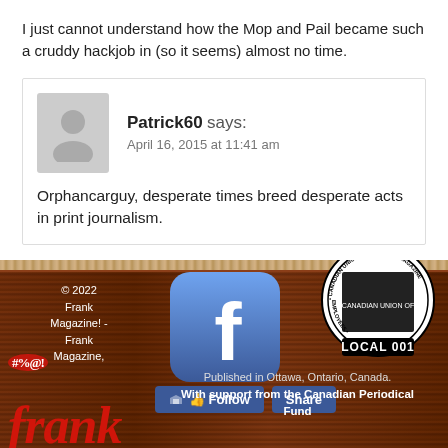I just cannot understand how the Mop and Pail became such a cruddy hackjob in (so it seems) almost no time.
Patrick60 says:
April 16, 2015 at 11:41 am
Orphancarguy, desperate times breed desperate acts in print journalism.
© 2022 Frank Magazine! - Frank Magazine.
Published in Ottawa, Ontario, Canada.
With support from the Canadian Periodical Fund